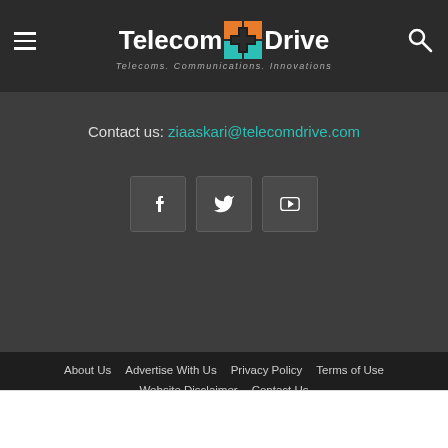TelecomDrive — Telecoms. Communications. Innovations.
Contact us: ziaaskari@telecomdrive.com
[Figure (other): Social media icons: Facebook, Twitter, YouTube]
About Us  Advertise With Us  Privacy Policy  Terms of Use  Website Disclaimer  Contact Us
© 2021 TELECOMDRIVE | Maintained by BIZ2ROCK on DoUpLinux (D.U.L)
[Figure (other): Advertisement: Save Up to 65% — Leesburg Premium Outlets with arrow navigation icon]